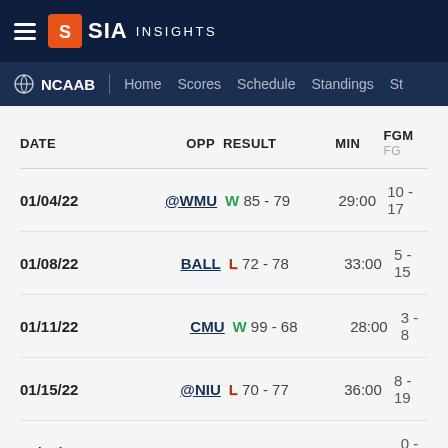SIA INSIGHTS
NCAAB | Home Scores Schedule Standings St
| DATE | OPP | RESULT | MIN | FGM |
| --- | --- | --- | --- | --- |
| 01/04/22 | @WMU | W 85 - 79 | 29:00 | 10 - 17 |
| 01/08/22 | BALL | L 72 - 78 | 33:00 | 5 - 15 |
| 01/11/22 | CMU | W 99 - 68 | 28:00 | 3 - 8 |
| 01/15/22 | @NIU | L 70 - 77 | 36:00 | 8 - 19 |
| 01/18/22 | KENT | L 47 - 56 | 38:00 | 0 - 7 |
| 01/29/22 | M-OH | W 85 - 75 | 35:00 | 11 - 15 |